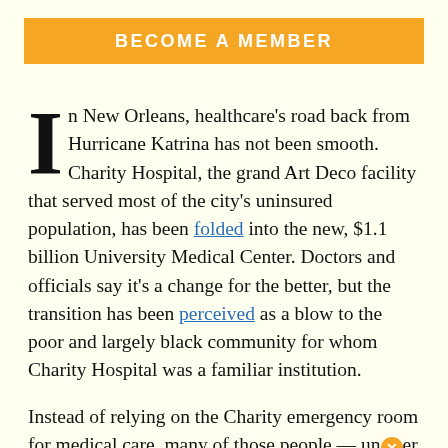BECOME A MEMBER
In New Orleans, healthcare's road back from Hurricane Katrina has not been smooth. Charity Hospital, the grand Art Deco facility that served most of the city's uninsured population, has been folded into the new, $1.1 billion University Medical Center. Doctors and officials say it's a change for the better, but the transition has been perceived as a blow to the poor and largely black community for whom Charity Hospital was a familiar institution.
Instead of relying on the Charity emergency room for medical care, many of those people — under a post-Katrina Medicaid waiver program — were expected to visit a new network of 60 community